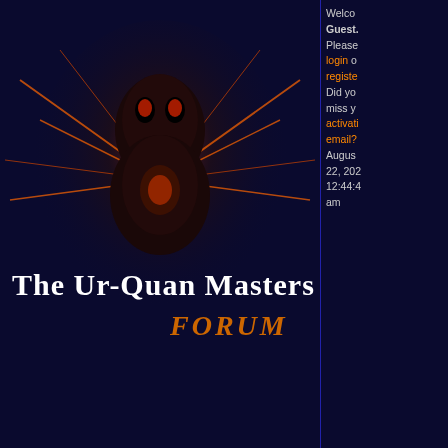[Figure (screenshot): The Ur-Quan Masters forum banner with alien artwork and 'THE UR-QUAN MASTERS FORUM' title on dark blue background]
Welcome, Guest. Please login or register. Did you miss your activation email? August 22, 2023, 12:44:47 am
[Figure (screenshot): Navigation buttons: home and help]
News: Paul & Fred have reached a settlement with Stardock!
The Ur-Quan Masters Discussion Forum
The Ur-Quan Masters Re-Release
Technical Issues (Moderator: Death 999)
got a cd-burner? (was: CR/LF problems?)
« previous next »
Pages: [1] 2 3 4
Topic: got a cd-burner? (was: CR/LF problems?) (Read 16551 times)
Author